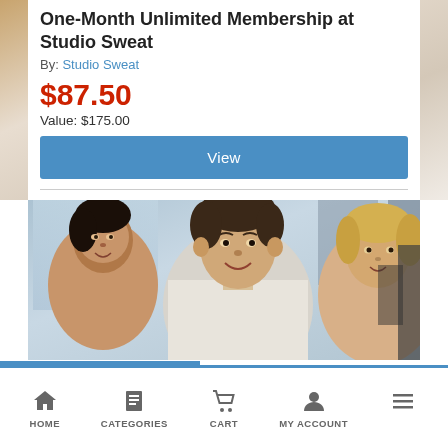One-Month Unlimited Membership at Studio Sweat
By: Studio Sweat
$87.50
Value: $175.00
View
[Figure (photo): Three people in a gym/fitness class setting, smiling and exercising. A man in white shirt is prominent in the center, with a woman on the left and a woman on the right with blonde hair.]
See More Local Deals
HOME  CATEGORIES  CART  MY ACCOUNT  (menu)